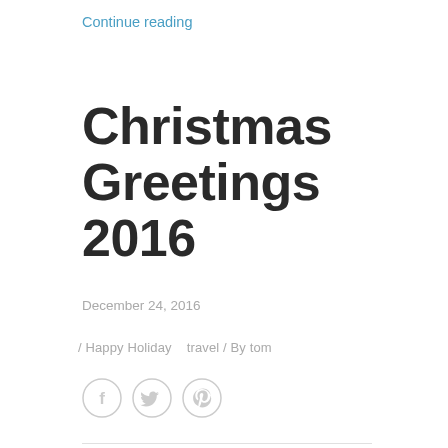Continue reading
Christmas Greetings 2016
December 24, 2016
/ Happy Holiday   travel / By tom
[Figure (other): Three circular social share icons: Facebook (f), Twitter (bird), Pinterest (p)]
I know it has been a long time